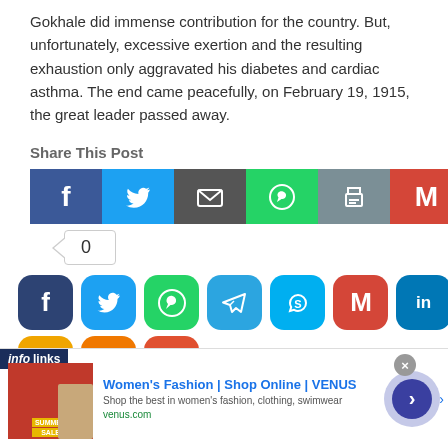Gokhale did immense contribution for the country. But, unfortunately, excessive exertion and the resulting exhaustion only aggravated his diabetes and cardiac asthma. The end came peacefully, on February 19, 1915, the great leader passed away.
Share This Post
[Figure (infographic): Social share buttons: Facebook, Twitter, Email, WhatsApp, Print, Gmail, LinkedIn, Google+, Messenger, More]
[Figure (infographic): Share count badge showing 0]
[Figure (infographic): Large rounded social share icons: Facebook, Twitter, WhatsApp, Telegram, Skype, Gmail, LinkedIn, Pinterest]
[Figure (infographic): Advertisement banner: Women's Fashion | Shop Online | VENUS - Shop the best in women's fashion, clothing, swimwear - venus.com]